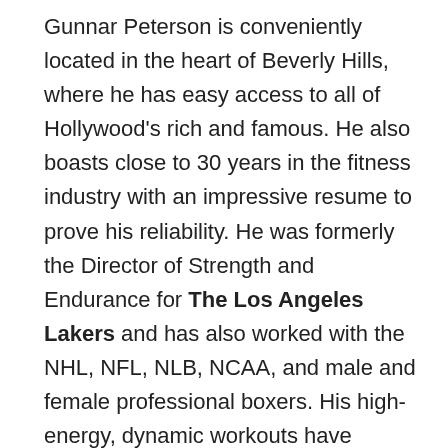Gunnar Peterson is conveniently located in the heart of Beverly Hills, where he has easy access to all of Hollywood's rich and famous. He also boasts close to 30 years in the fitness industry with an impressive resume to prove his reliability. He was formerly the Director of Strength and Endurance for The Los Angeles Lakers and has also worked with the NHL, NFL, NLB, NCAA, and male and female professional boxers. His high-energy, dynamic workouts have landed him other A-list actor clientele like Hugh Jackman, Matthew McConaughey, Sylvester Stallone, and the members of the Kardashian family. The physical results of some of these